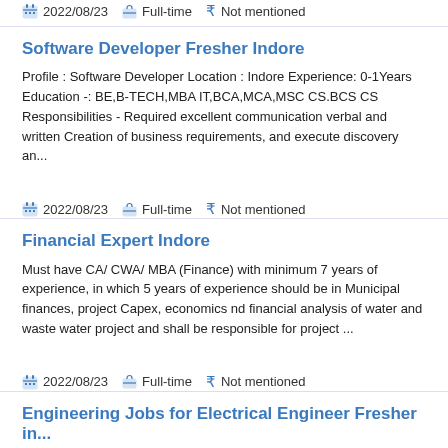2022/08/23   Full-time   Not mentioned
Software Developer Fresher Indore
Profile : Software Developer Location : Indore Experience: 0-1Years Education -: BE,B-TECH,MBA IT,BCA,MCA,MSC CS.BCS CS Responsibilities - Required excellent communication verbal and written Creation of business requirements, and execute discovery an...
2022/08/23   Full-time   Not mentioned
Financial Expert Indore
Must have CA/ CWA/ MBA (Finance) with minimum 7 years of experience, in which 5 years of experience should be in Municipal finances, project Capex, economics nd financial analysis of water and waste water project and shall be responsible for project ...
2022/08/23   Full-time   Not mentioned
Engineering Jobs for Electrical Engineer Fresher in...